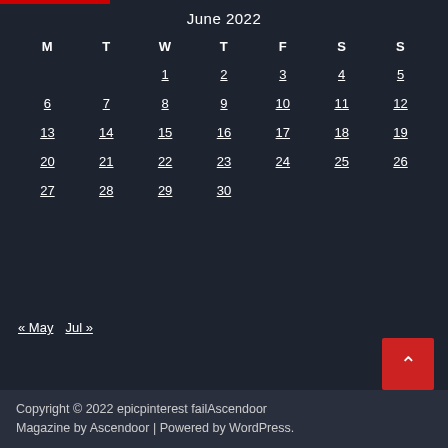June 2022
| M | T | W | T | F | S | S |
| --- | --- | --- | --- | --- | --- | --- |
|  |  | 1 | 2 | 3 | 4 | 5 |
| 6 | 7 | 8 | 9 | 10 | 11 | 12 |
| 13 | 14 | 15 | 16 | 17 | 18 | 19 |
| 20 | 21 | 22 | 23 | 24 | 25 | 26 |
| 27 | 28 | 29 | 30 |  |  |  |
« May   Jul »
Copyright © 2022 epicpinterest failAscendoor Magazine by Ascendoor | Powered by WordPress.